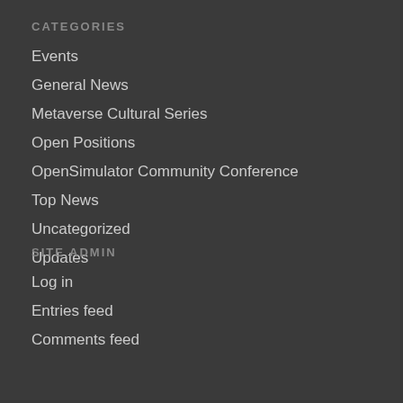CATEGORIES
Events
General News
Metaverse Cultural Series
Open Positions
OpenSimulator Community Conference
Top News
Uncategorized
Updates
SITE ADMIN
Log in
Entries feed
Comments feed